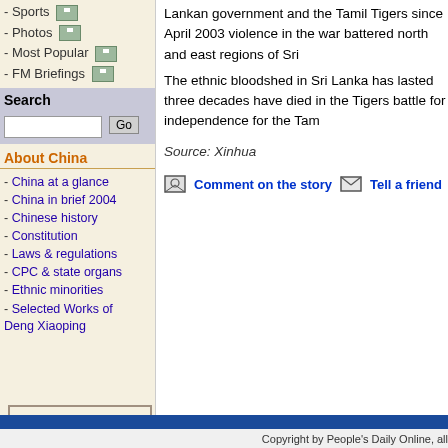- Sports
- Photos
- Most Popular
- FM Briefings
Search
About China
- China at a glance
- China in brief 2004
- Chinese history
- Constitution
- Laws & regulations
- CPC & state organs
- Ethnic minorities
- Selected Works of Deng Xiaoping
[Figure (other): Feedback button with diamond envelope icon]
Lankan government and the Tamil Tigers since April 2003 violence in the war battered north and east regions of Sri
The ethnic bloodshed in Sri Lanka has lasted three decades have died in the Tigers battle for independence for the Tam
Source: Xinhua
Comment on the story   Tell a friend   Print fr
Copyright by People's Daily Online, all